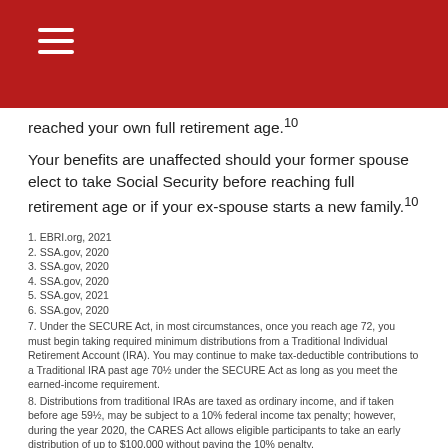reached your own full retirement age.10
Your benefits are unaffected should your former spouse elect to take Social Security before reaching full retirement age or if your ex-spouse starts a new family.10
1. EBRI.org, 2021
2. SSA.gov, 2020
3. SSA.gov, 2020
4. SSA.gov, 2020
5. SSA.gov, 2021
6. SSA.gov, 2020
7. Under the SECURE Act, in most circumstances, once you reach age 72, you must begin taking required minimum distributions from a Traditional Individual Retirement Account (IRA). You may continue to make tax-deductible contributions to a Traditional IRA past age 70½ under the SECURE Act as long as you meet the earned-income requirement.
8. Distributions from traditional IRAs are taxed as ordinary income, and if taken before age 59½, may be subject to a 10% federal income tax penalty; however, during the year 2020, the CARES Act allows eligible participants to take an early distribution of up to $100,000 without paying the 10% penalty.